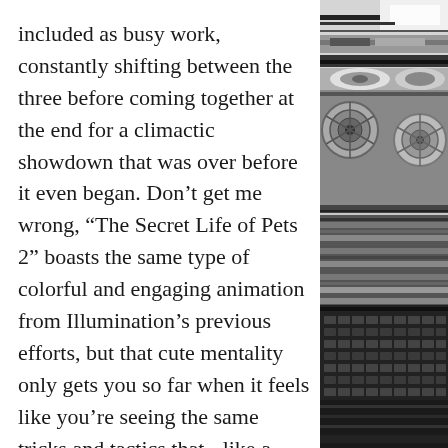included as busy work, constantly shifting between the three before coming together at the end for a climactic showdown that was over before it even began. Don't get me wrong, “The Secret Life of Pets 2” boasts the same type of colorful and engaging animation from Illumination’s previous efforts, but that cute mentality only gets you so far when it feels like you’re seeing the same tricks and tactics that - like a gross hairball - is chewed up and spit back out again.
Grade: B-
[Figure (photo): Black and white photo of film reels and cinema equipment, showing metallic reel spools and film strips in close-up detail.]